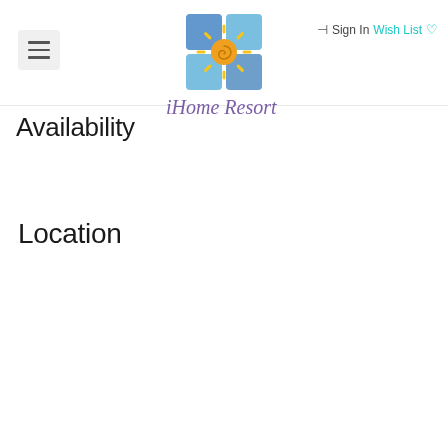iHome Resort — Sign In | Wish List
[Figure (logo): iHome Resort logo: a 2x2 grid of blue/teal tiles with a stylized sun (orange spiral center with yellow rays) overlaid on the tiles, below which the text 'iHome Resort' in purple handwritten-style font]
Availability
Location